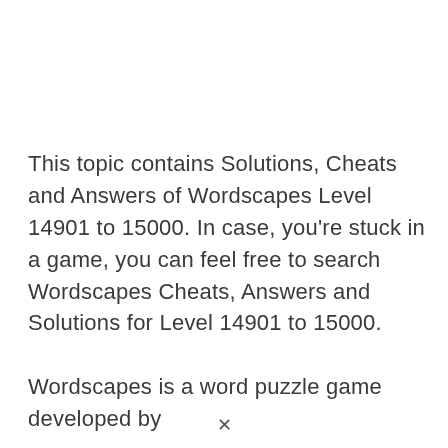This topic contains Solutions, Cheats and Answers of Wordscapes Level 14901 to 15000. In case, you're stuck in a game, you can feel free to search Wordscapes Cheats, Answers and Solutions for Level 14901 to 15000.

Wordscapes is a word puzzle game developed by